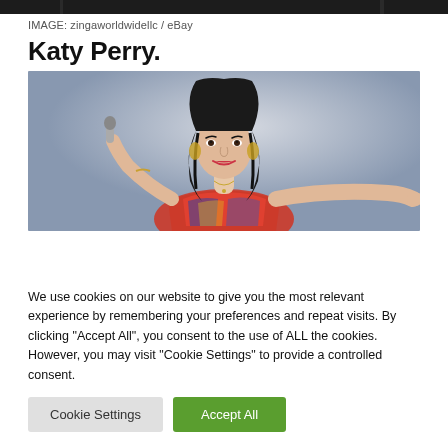[Figure (photo): Partial bottom strip of an image showing a dark background, partially cropped at the top of the page.]
IMAGE: zingaworldwidellc / eBay
Katy Perry.
[Figure (photo): Photo of Katy Perry, a woman with long dark wavy hair, wearing a colorful strapless top, holding a microphone near her head with one hand and extending the other arm outward, against a gray blurred background.]
We use cookies on our website to give you the most relevant experience by remembering your preferences and repeat visits. By clicking "Accept All", you consent to the use of ALL the cookies. However, you may visit "Cookie Settings" to provide a controlled consent.
Cookie Settings
Accept All